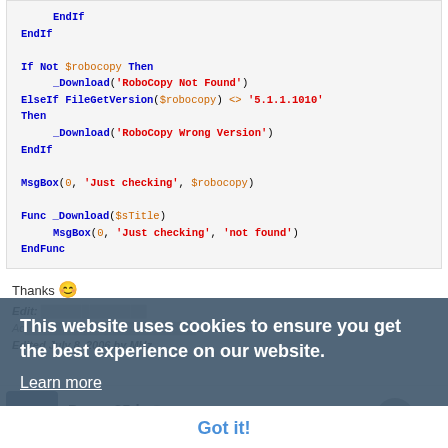[Figure (screenshot): Code block showing AutoIt script with EndIf, If Not $robocopy Then, _Download calls, ElseIf FileGetVersion, MsgBox, Func _Download($sTitle), EndFunc]
Thanks 😊
Edit: ... Edited July 8, 2006 by MHz
This website uses cookies to ensure you get the best experience on our website. Learn more Got it!
Danny35d  ● 16  Posted July 6, 2006